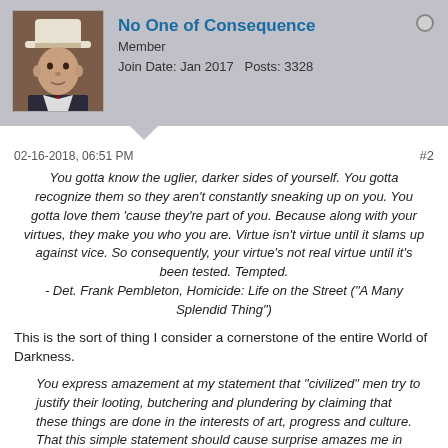No One of Consequence
Member
Join Date: Jan 2017   Posts: 3328
02-16-2018, 06:51 PM   #2
You gotta know the uglier, darker sides of yourself. You gotta recognize them so they aren't constantly sneaking up on you. You gotta love them 'cause they're part of you. Because along with your virtues, they make you who you are. Virtue isn't virtue until it slams up against vice. So consequently, your virtue's not real virtue until it's been tested. Tempted.
- Det. Frank Pembleton, Homicide: Life on the Street ("A Many Splendid Thing")
This is the sort of thing I consider a cornerstone of the entire World of Darkness.
You express amazement at my statement that "civilized" men try to justify their looting, butchering and plundering by claiming that these things are done in the interests of art, progress and culture. That this simple statement should cause surprise amazes me in return. People claiming to possess superior civilization have always veneered their rapaciousness by such claims ... Civilized nations never, never have